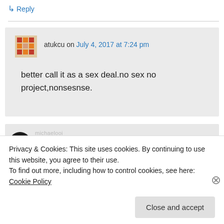↳ Reply
atukcu on July 4, 2017 at 7:24 pm
better call it as a sex deal.no sex no project,nonsesnse.
michaelooi on July 4, 2017 at 3:03 am
Privacy & Cookies: This site uses cookies. By continuing to use this website, you agree to their use.
To find out more, including how to control cookies, see here: Cookie Policy